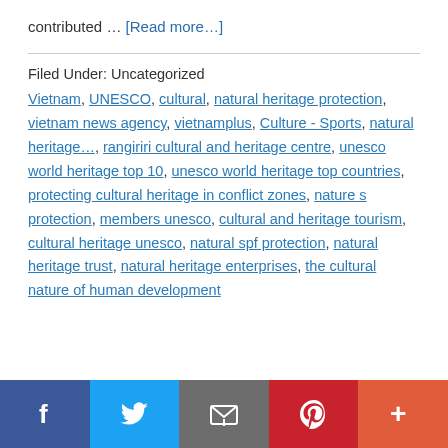contributed … [Read more…]
Filed Under: Uncategorized
Vietnam, UNESCO, cultural, natural heritage protection, vietnam news agency, vietnamplus, Culture - Sports, natural heritage…, rangiriri cultural and heritage centre, unesco world heritage top 10, unesco world heritage top countries, protecting cultural heritage in conflict zones, nature s protection, members unesco, cultural and heritage tourism, cultural heritage unesco, natural spf protection, natural heritage trust, natural heritage enterprises, the cultural nature of human development
Social share bar: Facebook, Twitter, Email, Pinterest, More